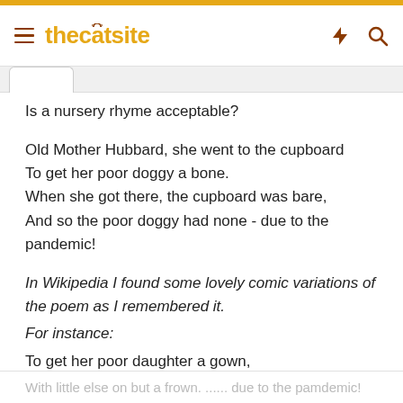thecatsite
Is a nursery rhyme acceptable?
Old Mother Hubbard, she went to the cupboard
To get her poor doggy a bone.
When she got there, the cupboard was bare,
And so the poor doggy had none - due to the pandemic!
In Wikipedia I found some lovely comic variations of the poem as I remembered it.
For instance:
To get her poor daughter a gown,
But the cupboard was bare
So the damsel sat there
With little else on but a frown. ...... due to the pamdemic!